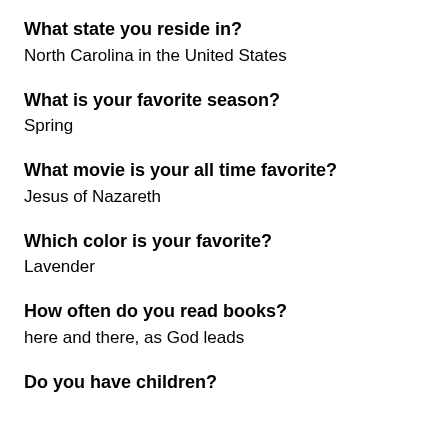What state you reside in?
North Carolina in the United States
What is your favorite season?
Spring
What movie is your all time favorite?
Jesus of Nazareth
Which color is your favorite?
Lavender
How often do you read books?
here and there, as God leads
Do you have children?